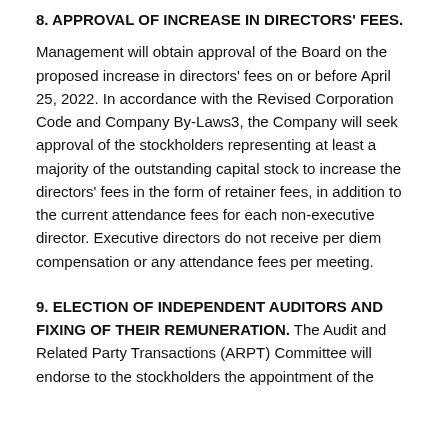8. APPROVAL OF INCREASE IN DIRECTORS' FEES.
Management will obtain approval of the Board on the proposed increase in directors' fees on or before April 25, 2022. In accordance with the Revised Corporation Code and Company By-Laws3, the Company will seek approval of the stockholders representing at least a majority of the outstanding capital stock to increase the directors' fees in the form of retainer fees, in addition to the current attendance fees for each non-executive director. Executive directors do not receive per diem compensation or any attendance fees per meeting.
9. ELECTION OF INDEPENDENT AUDITORS AND FIXING OF THEIR REMUNERATION.
The Audit and Related Party Transactions (ARPT) Committee will endorse to the stockholders the appointment of the